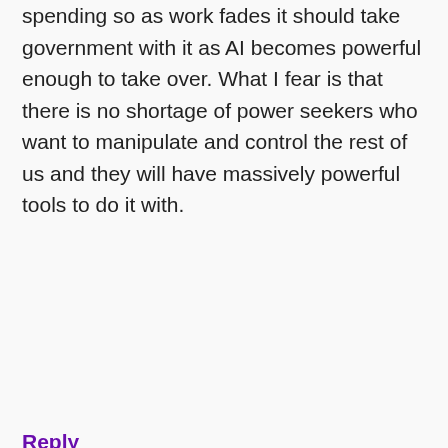spending so as work fades it should take government with it as AI becomes powerful enough to take over. What I fear is that there is no shortage of power seekers who want to manipulate and control the rest of us and they will have massively powerful tools to do it with.
Reply
[Figure (illustration): Blue and white geometric/quilted pattern avatar icon for user Ken]
Ken
november 11, 2011 at 2:31 pm
30% unemployment is already here. In the UK officially there are 2.4 million unemployed.
There are 3 million who are classed as disabled